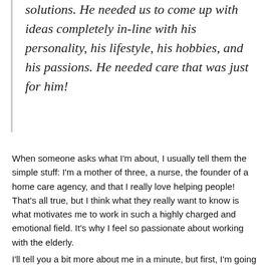solutions. He needed us to come up with ideas completely in-line with his personality, his lifestyle, his hobbies, and his passions. He needed care that was just for him!
When someone asks what I'm about, I usually tell them the simple stuff: I'm a mother of three, a nurse, the founder of a home care agency, and that I really love helping people! That's all true, but I think what they really want to know is what motivates me to work in such a highly charged and emotional field. It's why I feel so passionate about working with the elderly.
I'll tell you a bit more about me in a minute, but first, I'm going